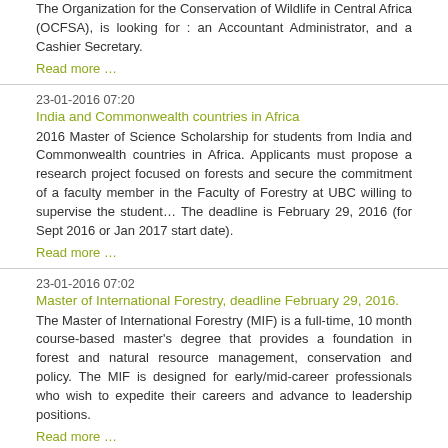The Organization for the Conservation of Wildlife in Central Africa (OCFSA), is looking for : an Accountant Administrator, and a Cashier Secretary.
Read more …
23-01-2016 07:20
India and Commonwealth countries in Africa
2016 Master of Science Scholarship for students from India and Commonwealth countries in Africa. Applicants must propose a research project focused on forests and secure the commitment of a faculty member in the Faculty of Forestry at UBC willing to supervise the student… The deadline is February 29, 2016 (for Sept 2016 or Jan 2017 start date).
Read more …
23-01-2016 07:02
Master of International Forestry, deadline February 29, 2016.
The Master of International Forestry (MIF) is a full-time, 10 month course-based master's degree that provides a foundation in forest and natural resource management, conservation and policy. The MIF is designed for early/mid-career professionals who wish to expedite their careers and advance to leadership positions.
Read more …
23-01-2016 06:39
CEPF-Grants
Calls for proposals and other news about grant availability are announced on this site. Proposals are welcome if they meet our eligibility criteria.
Read more …
18-01-2016 17:13